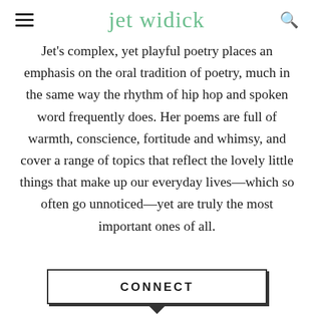jet widick
Jet's complex, yet playful poetry places an emphasis on the oral tradition of poetry, much in the same way the rhythm of hip hop and spoken word frequently does. Her poems are full of warmth, conscience, fortitude and whimsy, and cover a range of topics that reflect the lovely little things that make up our everyday lives—which so often go unnoticed—yet are truly the most important ones of all.
CONNECT